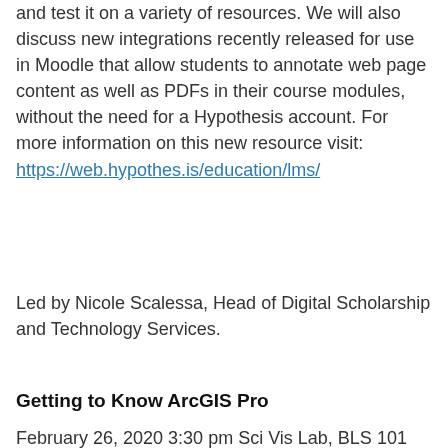and test it on a variety of resources. We will also discuss new integrations recently released for use in Moodle that allow students to annotate web page content as well as PDFs in their course modules, without the need for a Hypothesis account. For more information on this new resource visit: https://web.hypothes.is/education/lms/
Led by Nicole Scalessa, Head of Digital Scholarship and Technology Services.
Getting to Know ArcGIS Pro
February 26, 2020 3:30 pm Sci Vis Lab, BLS 101
[Figure (logo): ArcGIS Pro application icon — a teal/green hexagonal background with a blue faceted gem/globe shape and white globe icon in the center]